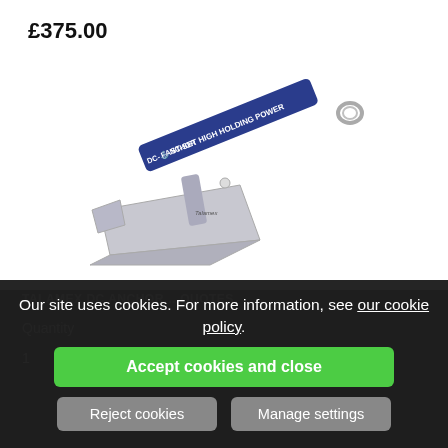£375.00
[Figure (photo): A Talamex DC Anchor with a blue handle labeled 'DC-ANCHOR FAST-SET HIGH HOLDING POWER' and a galvanized steel fluke/blade at the bottom.]
TA...MEX DC ANCHOR... Q/O/U/O/T/E/S
Quantity
1
Our site uses cookies. For more information, see our cookie policy.
Accept cookies and close
Reject cookies
Manage settings